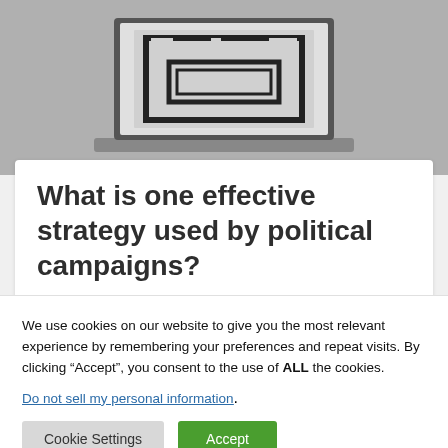[Figure (screenshot): Laptop showing a geometric/pixel art graphic on screen, displayed against a gray background.]
What is one effective strategy used by political campaigns?
We use cookies on our website to give you the most relevant experience by remembering your preferences and repeat visits. By clicking “Accept”, you consent to the use of ALL the cookies.
Do not sell my personal information.
Cookie Settings | Accept